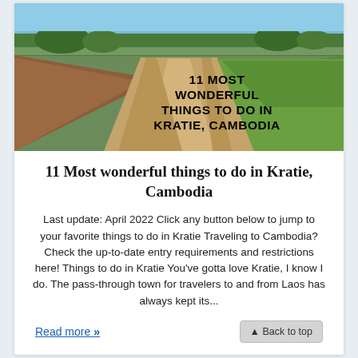[Figure (photo): Dirt road stretching into distance through agricultural fields with trees on horizon, serving as hero image for article about Kratie Cambodia]
11 Most wonderful things to do in Kratie, Cambodia
Last update: April 2022 Click any button below to jump to your favorite things to do in Kratie Traveling to Cambodia? Check the up-to-date entry requirements and restrictions here! Things to do in Kratie You've gotta love Kratie, I know I do. The pass-through town for travelers to and from Laos has always kept its...
Read more »
▲ Back to top